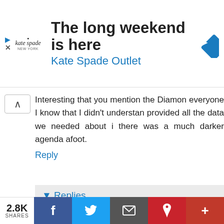[Figure (screenshot): Kate Spade Outlet advertisement banner with logo, headline 'The long weekend is here', subheading 'Kate Spade Outlet', and a blue diamond-shaped navigation icon on the right.]
Interesting that you mention the Diamond everyone I know that I didn't understand provided all the data we needed about i there was a much darker agenda afoot.
Reply
Replies
Julius September 5, 2021 at 10:14 They have a remarkable ability narrative!
[Figure (infographic): Social share bar showing 2.8K SHARES with Facebook, Twitter, Email, Pinterest, and More buttons.]